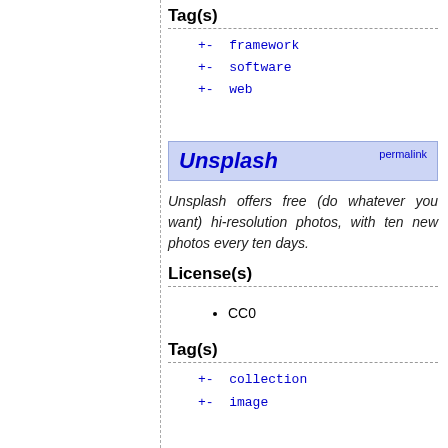Tag(s)
+- framework
+- software
+- web
Unsplash permalink
Unsplash offers free (do whatever you want) hi-resolution photos, with ten new photos every ten days.
License(s)
CC0
Tag(s)
+- collection
+- image